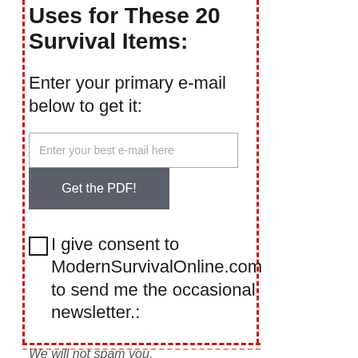Uses for These 20 Survival Items:
Enter your primary e-mail below to get it:
[Figure (other): Email input field with placeholder text 'Enter your best e-mail here' and a 'Get the PDF!' button]
☐I give consent to ModernSurvivalOnline.com to send me the occasional newsletter.:
We will not spam you.